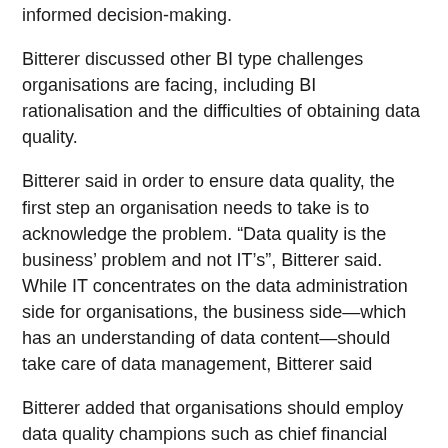informed decision-making.
Bitterer discussed other BI type challenges organisations are facing, including BI rationalisation and the difficulties of obtaining data quality.
Bitterer said in order to ensure data quality, the first step an organisation needs to take is to acknowledge the problem. “Data quality is the business’ problem and not IT’s”, Bitterer said. While IT concentrates on the data administration side for organisations, the business side—which has an understanding of data content—should take care of data management, Bitterer said
Bitterer added that organisations should employ data quality champions such as chief financial officers or data stewards to understand the content needing to be managed.
The BI conference will cover the areas of process, performance management, governance, technology such as data warehousing, the future of BI and emerging trends, according to Bitterer. Emerging trends include issues such as the impact of social networking on organisations, the mobile business intelligence and the importance of collaboration and